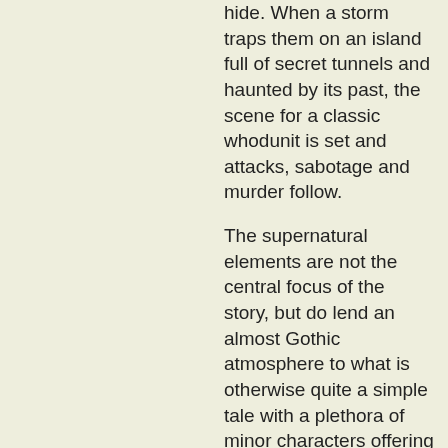hide. When a storm traps them on an island full of secret tunnels and haunted by its past, the scene for a classic whodunit is set and attacks, sabotage and murder follow.
The supernatural elements are not the central focus of the story, but do lend an almost Gothic atmosphere to what is otherwise quite a simple tale with a plethora of minor characters offering a series of distractions.
It is almost Christie-like with its remote islands, aristocrats, an ancient haunted country house, and, of course, the guests. While there is little doubt in the mind of any experienced